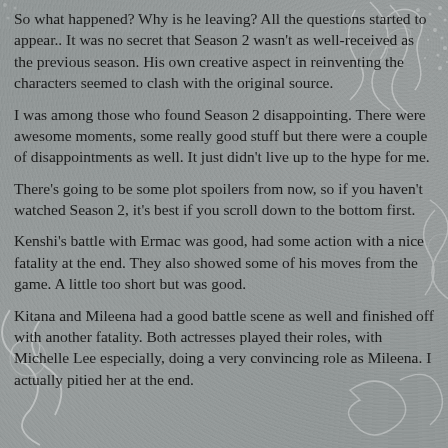So what happened? Why is he leaving? All the questions started to appear.. It was no secret that Season 2 wasn't as well-received as the previous season. His own creative aspect in reinventing the characters seemed to clash with the original source.
I was among those who found Season 2 disappointing. There were awesome moments, some really good stuff but there were a couple of disappointments as well. It just didn't live up to the hype for me.
There's going to be some plot spoilers from now, so if you haven't watched Season 2, it's best if you scroll down to the bottom first.
Kenshi's battle with Ermac was good, had some action with a nice fatality at the end. They also showed some of his moves from the game. A little too short but was good.
Kitana and Mileena had a good battle scene as well and finished off with another fatality. Both actresses played their roles, with Michelle Lee especially, doing a very convincing role as Mileena. I actually pitied her at the end.